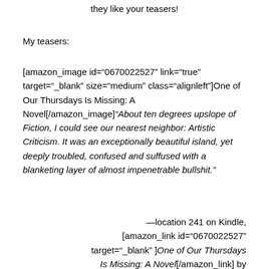they like your teasers!
My teasers:
[amazon_image id="0670022527" link="true" target="_blank" size="medium" class="alignleft"]One of Our Thursdays Is Missing: A Novel[/amazon_image]“About ten degrees upslope of Fiction, I could see our nearest neighbor: Artistic Criticism. It was an exceptionally beautiful island, yet deeply troubled, confused and suffused with a blanketing layer of almost impenetrable bullshit.”
—location 241 on Kindle, [amazon_link id="0670022527" target="_blank" ]One of Our Thursdays Is Missing: A Novel[/amazon_link] by Jasper Fforde